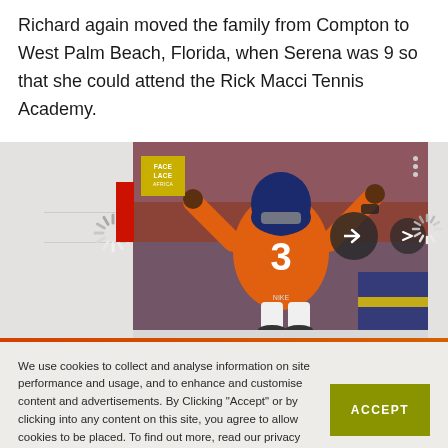Richard again moved the family from Compton to West Palm Beach, Florida, when Serena was 9 so that she could attend the Rick Macci Tennis Academy.
[Figure (photo): A webpage UI showing a media carousel with a photo of an NFL player wearing orange jersey number 3 (Denver Broncos), arms raised. Left side shows a loading spinner. A Face Lace logo appears in top left of the image. Navigation arrow buttons visible. Three dots menu in top right corner.]
We use cookies to collect and analyse information on site performance and usage, and to enhance and customise content and advertisements. By Clicking "Accept" or by clicking into any content on this site, you agree to allow cookies to be placed. To find out more, read our privacy policy.